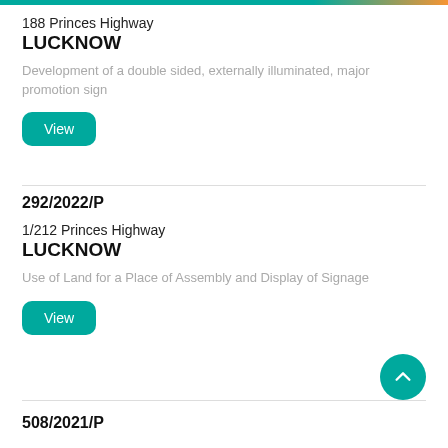188 Princes Highway
LUCKNOW
Development of a double sided, externally illuminated, major promotion sign
View
292/2022/P
1/212 Princes Highway
LUCKNOW
Use of Land for a Place of Assembly and Display of Signage
View
508/2021/P